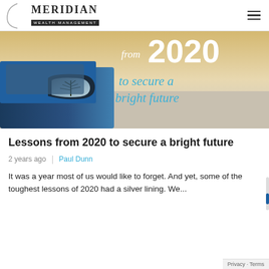MERIDIAN WEALTH MANAGEMENT
[Figure (illustration): Hero banner image showing a car side mirror with a wintry tree reflection, overlaid with text 'from 2020 to secure a bright future']
Lessons from 2020 to secure a bright future
2 years ago  |  Paul Dunn
It was a year most of us would like to forget. And yet, some of the toughest lessons of 2020 had a silver lining. We...
Privacy · Terms